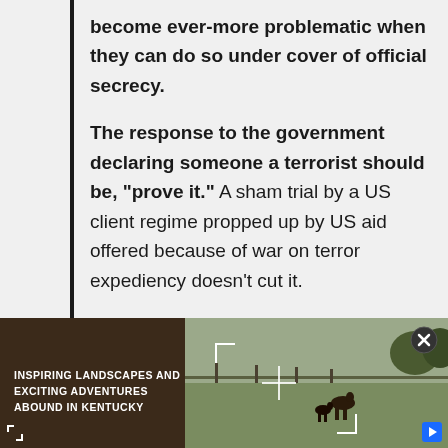become ever-more problematic when they can do so under cover of official secrecy.
The response to the government declaring someone a terrorist should be, "prove it." A sham trial by a US client regime propped up by US aid offered because of war on terror expediency doesn't cut it.
[Figure (photo): Advertisement banner showing horses in a Kentucky landscape on the right side, and dark brown background with text on the left side reading 'INSPIRING LANDSCAPES AND EXCITING ADVENTURES ABOUND IN KENTUCKY']